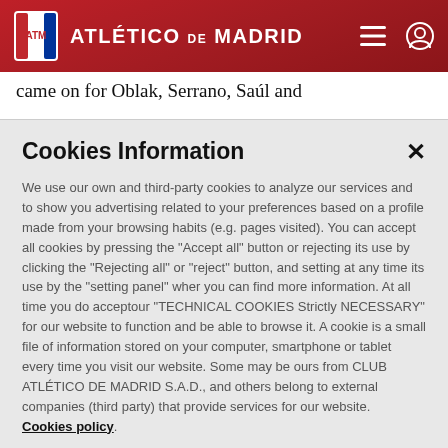ATLÉTICO DE MADRID
came on for Oblak, Serrano, Saúl and
Cookies Information
We use our own and third-party cookies to analyze our services and to show you advertising related to your preferences based on a profile made from your browsing habits (e.g. pages visited). You can accept all cookies by pressing the "Accept all" button or rejecting its use by clicking the "Rejecting all" or "reject" button, and setting at any time its use by the "setting panel" wher you can find more information. At all time you do acceptour "TECHNICAL COOKIES Strictly NECESSARY" for our website to function and be able to browse it. A cookie is a small file of information stored on your computer, smartphone or tablet every time you visit our website. Some may be ours from CLUB ATLÉTICO DE MADRID S.A.D., and others belong to external companies (third party) that provide services for our website.  Cookies policy.